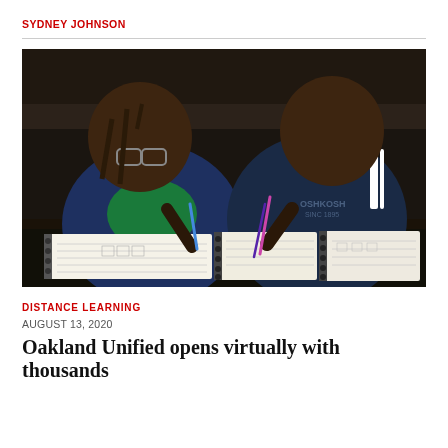SYDNEY JOHNSON
[Figure (photo): Two children sitting at a dark table, working in spiral-bound workbooks. The child on the left wears glasses and a blue shirt with a green panel. The child on the right wears a dark blue Oshkosh B'gosh shirt. Both are writing with pens.]
DISTANCE LEARNING
AUGUST 13, 2020
Oakland Unified opens virtually with thousands